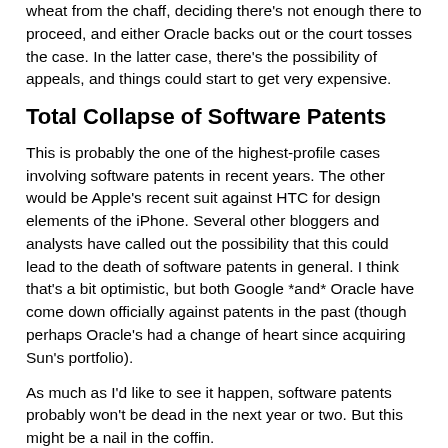wheat from the chaff, deciding there's not enough there to proceed, and either Oracle backs out or the court tosses the case. In the latter case, there's the possibility of appeals, and things could start to get very expensive.
Total Collapse of Software Patents
This is probably the one of the highest-profile cases involving software patents in recent years. The other would be Apple's recent suit against HTC for design elements of the iPhone. Several other bloggers and analysts have called out the possibility that this could lead to the death of software patents in general. I think that's a bit optimistic, but both Google *and* Oracle have come down officially against patents in the past (though perhaps Oracle's had a change of heart since acquiring Sun's portfolio).
As much as I'd like to see it happen, software patents probably won't be dead in the next year or two. But this might be a nail in the coffin.
What Does This Mean for Java?